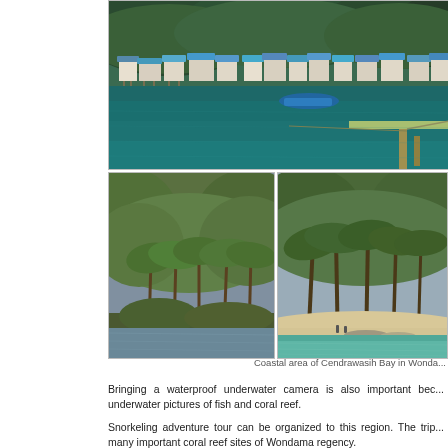[Figure (photo): Top photo: coastal bay with village houses on stilts with blue roofs along the waterline, dense green forested hills behind, calm dark teal water, wooden dock/pier in the foreground right side]
[Figure (photo): Bottom-left photo: tropical island/coastline with dense palm trees and rainforest, calm grey-blue water in front]
[Figure (photo): Bottom-right photo: tropical beach with white sand, clear turquoise water, tall palm trees and dense green hills behind, small figures visible on beach]
Coastal area of Cendrawasih Bay in Wonda...
Bringing a waterproof underwater camera is also important bec... underwater pictures of fish and coral reef.
Snorkeling adventure tour can be organized to this region. The trip... many important coral reef sites of Wondama regency.